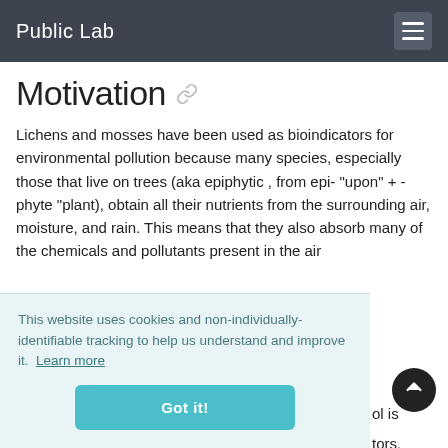Public Lab
Motivation
Lichens and mosses have been used as bioindicators for environmental pollution because many species, especially those that live on trees (aka epiphytic , from epi- "upon" + -phyte "plant), obtain all their nutrients from the surrounding air, moisture, and rain. This means that they also absorb many of the chemicals and pollutants present in the air
This website uses cookies and non-individually-identifiable tracking to help us understand and improve it.  Learn more
Got it!
Lichen